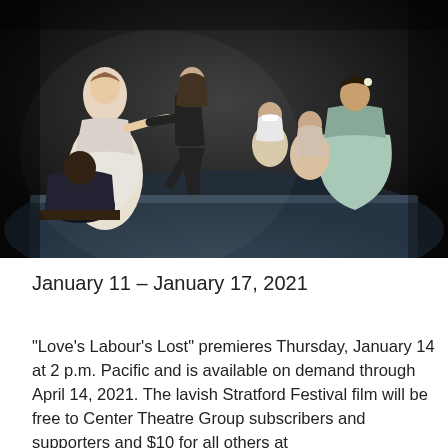[Figure (photo): A theatrical stage scene with actors in period costume. A man in a black outfit kneels toward a woman in a white gown on the left. Other actors in period dress are seated on the right side of the stage against a dark background.]
January 11 – January 17, 2021
"Love's Labour's Lost" premieres Thursday, January 14 at 2 p.m. Pacific and is available on demand through April 14, 2021. The lavish Stratford Festival film will be free to Center Theatre Group subscribers and supporters and $10 for all others at http://www.centertheatregroup.org/digitalstage/videos/the-